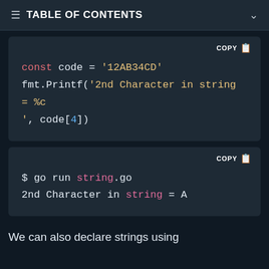TABLE OF CONTENTS
const code = '12AB34CD'
fmt.Printf('2nd Character in string = %c
', code[4])
$ go run string.go
2nd Character in string = A
We can also declare strings using